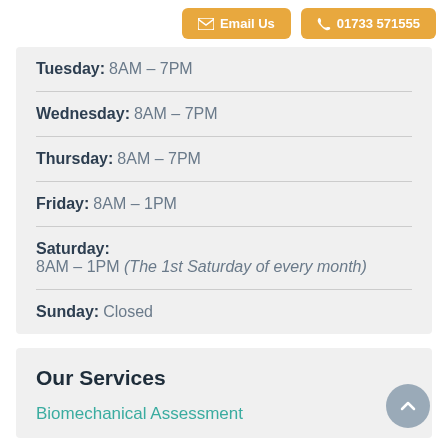Email Us | 01733 571555
Tuesday: 8AM – 7PM
Wednesday: 8AM – 7PM
Thursday: 8AM – 7PM
Friday: 8AM – 1PM
Saturday: 8AM – 1PM (The 1st Saturday of every month)
Sunday: Closed
Our Services
Biomechanical Assessment